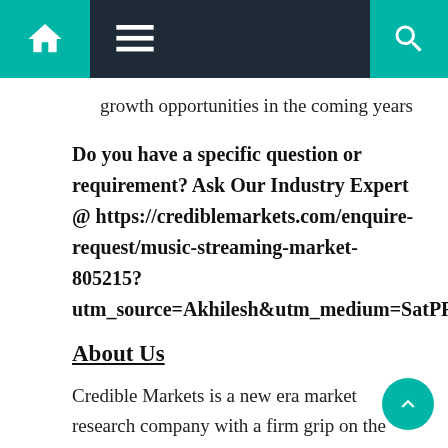Navigation bar with home, menu, and search icons
growth opportunities in the coming years
Do you have a specific question or requirement? Ask Our Industry Expert @ https://crediblemarkets.com/enquire-request/music-streaming-market-805215?utm_source=Akhilesh&utm_medium=SatPR
About Us
Credible Markets is a new era market research company with a firm grip on the pulse of global markets. Credible Markets has become a trusted